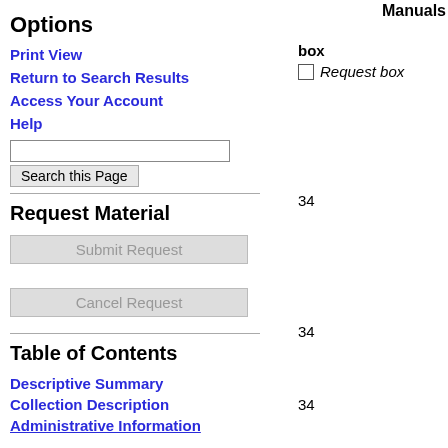Manuals
Options
Print View
Return to Search Results
Access Your Account
Help
box
Request box
34
Request Material
Submit Request
34
Cancel Request
34
Table of Contents
Descriptive Summary
Collection Description
Administrative Information